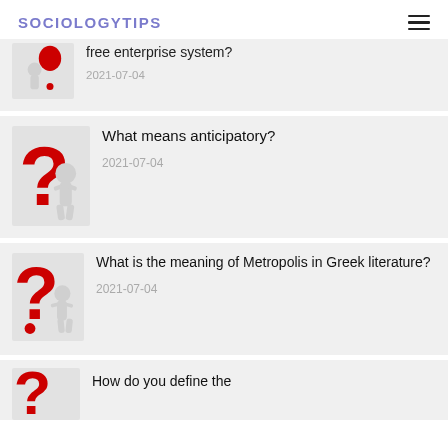SOCIOLOGYTIPS
free enterprise system? 2021-07-04
What means anticipatory? 2021-07-04
What is the meaning of Metropolis in Greek literature? 2021-07-04
How do you define the